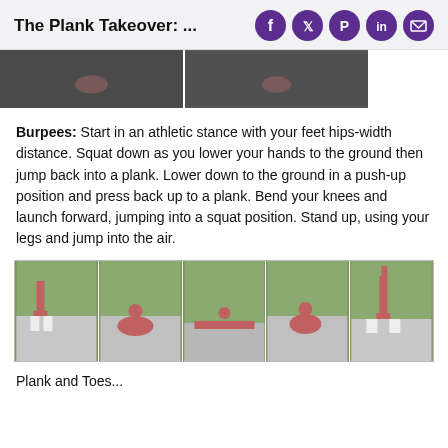The Plank Takeover: ...
[Figure (photo): Strip of two dark/gray workout photos showing exercise movements on ground]
Burpees: Start in an athletic stance with your feet hips-width distance. Squat down as you lower your hands to the ground then jump back into a plank. Lower down to the ground in a push-up position and press back up to a plank. Bend your knees and launch forward, jumping into a squat position. Stand up, using your legs and jump into the air.
[Figure (photo): Strip of five sequential photos showing a person performing a burpee exercise outdoors with bushes in background]
Plank and Toes...